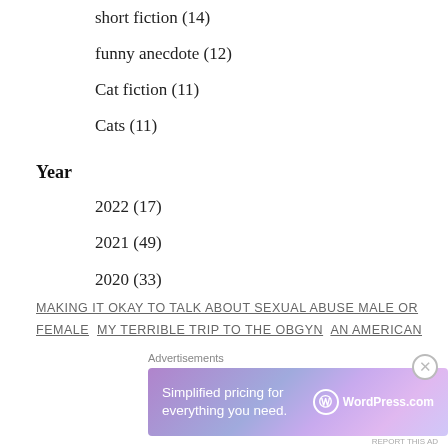short fiction (14)
funny anecdote (12)
Cat fiction (11)
Cats (11)
Year
2022 (17)
2021 (49)
2020 (33)
MAKING IT OKAY TO TALK ABOUT SEXUAL ABUSE MALE OR FEMALE MY TERRIBLE TRIP TO THE OBGYN AN AMERICAN
[Figure (screenshot): WordPress.com advertisement banner: 'Simplified pricing for everything you need.' with WordPress.com logo on gradient purple/pink background]